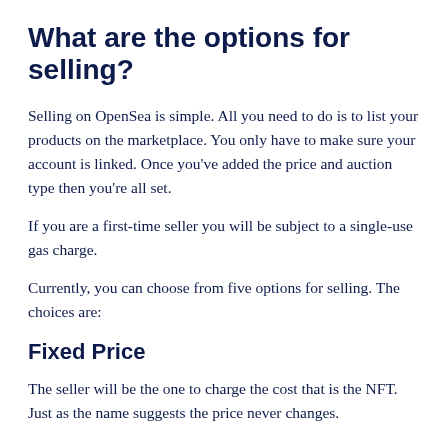What are the options for selling?
Selling on OpenSea is simple. All you need to do is to list your products on the marketplace. You only have to make sure your account is linked. Once you've added the price and auction type then you're all set.
If you are a first-time seller you will be subject to a single-use gas charge.
Currently, you can choose from five options for selling. The choices are:
Fixed Price
The seller will be the one to charge the cost that is the NFT. Just as the name suggests the price never changes.